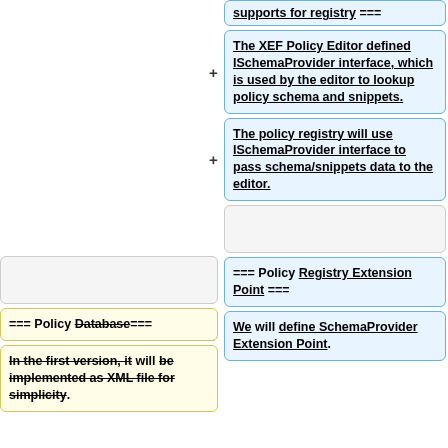supports for registry ===
The XEF Policy Editor defined ISchemaProvider interface, which is used by the editor to lookup policy schema and snippets.
The policy registry will use ISchemaProvider interface to pass schema/snippets data to the editor.
=== Policy Database ===
=== Policy Registry Extension Point ===
In the first version, it will be implemented as XML file for simplicity.
We will define SchemaProvider Extension Point.